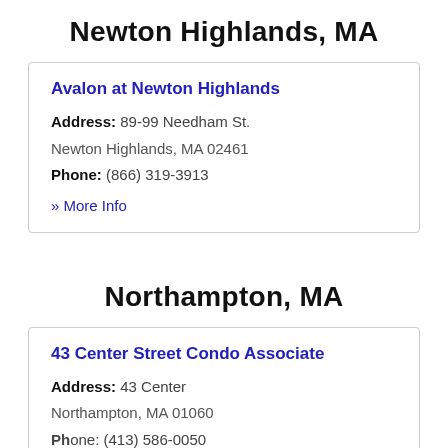Newton Highlands, MA
Avalon at Newton Highlands
Address: 89-99 Needham St. Newton Highlands, MA 02461
Phone: (866) 319-3913
» More Info
Northampton, MA
43 Center Street Condo Associate
Address: 43 Center Northampton, MA 01060
Phone: (413) 586-0050